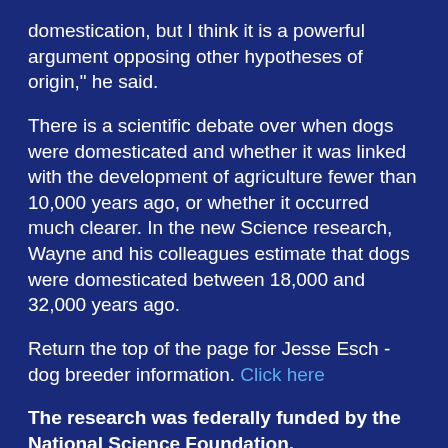domestication, but I think it is a powerful argument opposing other hypotheses of origin," he said.
There is a scientific debate over when dogs were domesticated and whether it was linked with the development of agriculture fewer than 10,000 years ago, or whether it occurred much clearer. In the new Science research, Wayne and his colleagues estimate that dogs were domesticated between 18,000 and 32,000 years ago.
Return the top of the page for Jesse Esch - dog breeder information. Click here
The research was federally funded by the National Science Foundation.
Co-authors on the Science paper include Olaf Thalmann, a former postdoctoral scholar in Wayne's laboratory who is currently the Marie Curie Postdoctoral Fellow at Finland's University of Turku; Daniel Greenfield, a former technician in Wayne's laboratory; Francesc López-Giráldez, a former graduate student in Wayne's laboratory who is currently a